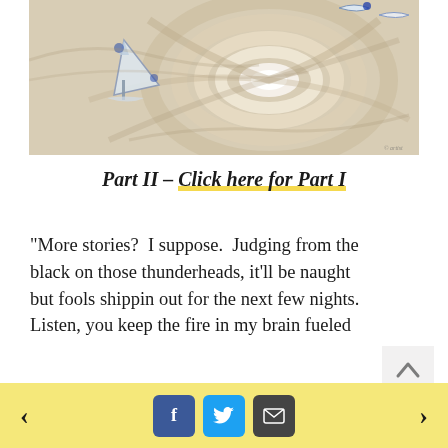[Figure (illustration): Swirl vortex fantasy painting with sailboat and birds in blue and white tones on a beige/cream swirling background]
Part II – Click here for Part I
“More stories?  I suppose.  Judging from the black on those thunderheads, it’ll be naught but fools shippin out for the next few nights. Listen, you keep the fire in my brain fueled
< [Facebook] [Twitter] [Email] >